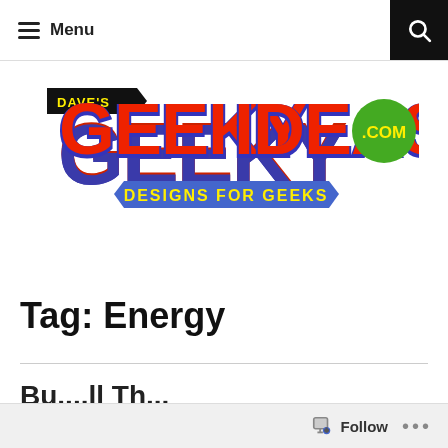Menu
[Figure (logo): Dave's Geeky Ideas .com — Designs for Geeks logo. Large red comic-style lettering 'GEEKY IDEAS' with a small black tag reading 'DAVE'S' and a green circle with '.COM'. Below is a blue banner reading 'DESIGNS FOR GEEKS'.]
Tag: Energy
Bu...ll Th...